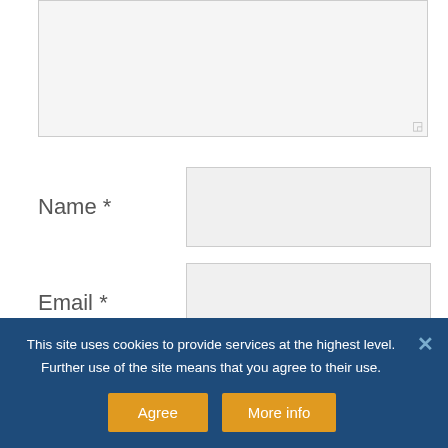[Figure (screenshot): A textarea input field with a light gray background and resize handle at the bottom right corner.]
Name *
[Figure (screenshot): A text input field for Name, light gray background with border.]
Email *
[Figure (screenshot): A text input field for Email, light gray background with border.]
Website
[Figure (screenshot): A text input field for Website, light gray background with border spanning full width.]
This site uses cookies to provide services at the highest level. Further use of the site means that you agree to their use.
Agree
More info